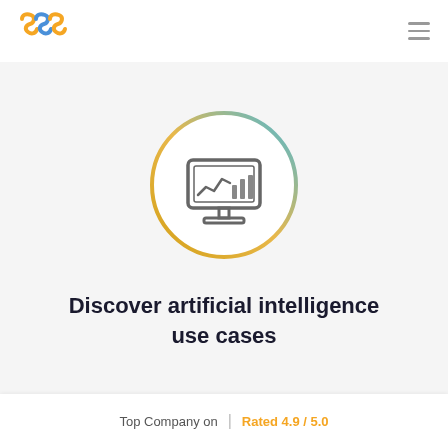[Figure (logo): SNS logo with orange and blue stylized swoosh letters]
[Figure (illustration): Circle with gradient border (gold to blue) containing a monitor/analytics icon showing a line chart and bar chart]
Discover artificial intelligence use cases
Top Company on  |  Rated 4.9 / 5.0